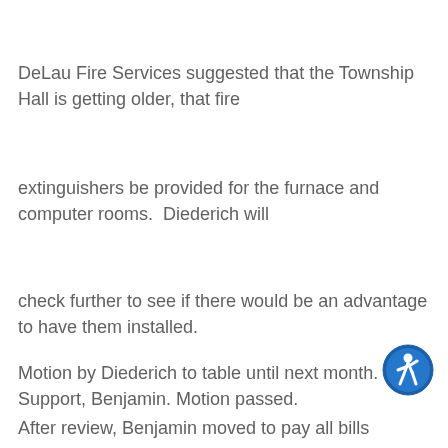DeLau Fire Services suggested that the Township Hall is getting older, that fire
extinguishers be provided for the furnace and computer rooms.  Diederich will
check further to see if there would be an advantage to have them installed.
Motion by Diederich to table until next month.  Support, Benjamin. Motion passed.
[Figure (illustration): Blue circular accessibility icon with a person figure in white]
After review, Benjamin moved to pay all bills